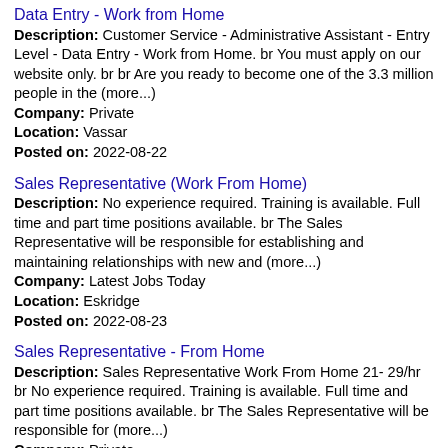Data Entry - Work from Home
Description: Customer Service - Administrative Assistant - Entry Level - Data Entry - Work from Home. br You must apply on our website only. br br Are you ready to become one of the 3.3 million people in the (more...)
Company: Private
Location: Vassar
Posted on: 2022-08-22
Sales Representative (Work From Home)
Description: No experience required. Training is available. Full time and part time positions available. br The Sales Representative will be responsible for establishing and maintaining relationships with new and (more...)
Company: Latest Jobs Today
Location: Eskridge
Posted on: 2022-08-23
Sales Representative - From Home
Description: Sales Representative Work From Home 21- 29/hr br No experience required. Training is available. Full time and part time positions available. br The Sales Representative will be responsible for (more...)
Company: Private
Location: Eskridge
Posted on: 2022-08-23